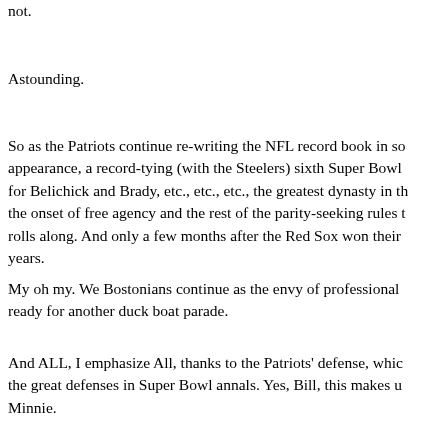not.
Astounding.
So as the Patriots continue re-writing the NFL record book in so appearance, a record-tying (with the Steelers) sixth Super Bowl for Belichick and Brady, etc., etc., etc., the greatest dynasty in the onset of free agency and the rest of the parity-seeking rules rolls along. And only a few months after the Red Sox won their years.
My oh my. We Bostonians continue as the envy of professional ready for another duck boat parade.
And ALL, I emphasize All, thanks to the Patriots' defense, whic the great defenses in Super Bowl annals. Yes, Bill, this makes u Minnie.